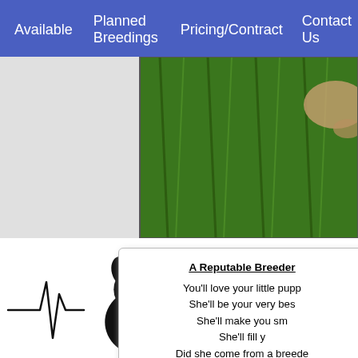Available | Planned Breedings | Pricing/Contract | Contact Us
[Figure (photo): Close-up photo of green grass with a dog visible in the upper right corner]
[Figure (illustration): Heartbeat line with French Bulldog silhouette and heart symbol illustration]
A Reputable Breeder
You'll love your little pupp
She'll be your very bes
She'll make you sm
She'll fill y
Did she come from a breede
If you've never been a bre
as you hold your little
You don't know of all the ang